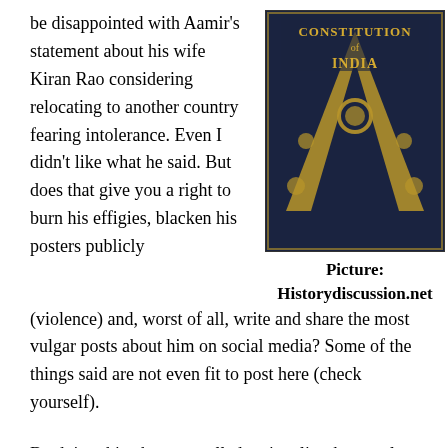be disappointed with Aamir's statement about his wife Kiran Rao considering relocating to another country fearing intolerance. Even I didn't like what he said. But does that give you a right to burn his effigies, blacken his posters publicly
[Figure (photo): Cover of the Constitution of India book, dark navy blue with gold ornamental decorations and the title 'CONSTITUTION of INDIA' in gold text at the top, with an emblem in the center.]
Picture: Historydiscussion.net
(violence) and, worst of all, write and share the most vulgar posts about him on social media? Some of the things said are not even fit to post here (check yourself).
By doing this, these so-called nationalists have only